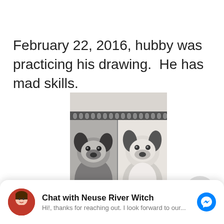February 22, 2016, hubby was practicing his drawing.  He has mad skills.
[Figure (photo): A photo of two pencil sketch drawings of a French Bulldog in a spiral sketchbook, shown side by side. The left sketch is more finished and darker, the right is more lightly rendered. The sketchbook spiral binding is visible at the top.]
Chat with Neuse River Witch
Hi!, thanks for reaching out. I look forward to our...